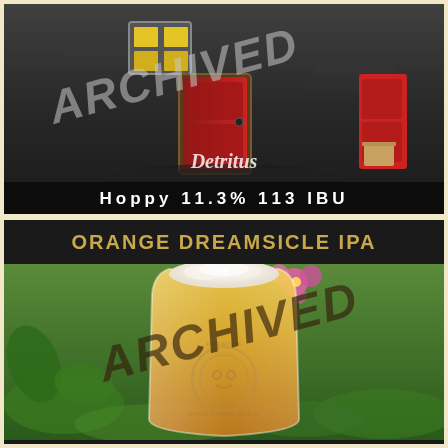[Figure (photo): Photo of a miniature fairy door scene with small red door and yellow-lit window set against a stone wall, in black and white with color accents. 'ARCHIVED' watermark stamped diagonally. Beer name 'Detritus' shown below with stats: Hoppy 11.3% 113 IBU.]
ORANGE DREAMSICLE IPA
[Figure (photo): Photo of a glass of golden/orange hazy IPA beer with white foam head, pink flower in background, green foliage, brewery logo on glass. 'ARCHIVED' watermark stamped diagonally.]